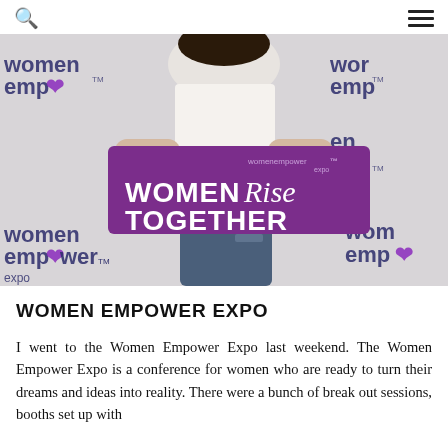[search icon] [menu icon]
[Figure (photo): A woman standing in front of a Women Empower Expo branded backdrop, holding a large purple sign that reads 'WOMEN Rise TOGETHER' with the womenempower expo logo on it. She is wearing a white top and ripped jeans.]
WOMEN EMPOWER EXPO
I went to the Women Empower Expo last weekend. The Women Empower Expo is a conference for women who are ready to turn their dreams and ideas into reality. There were a bunch of break out sessions, booths set up with